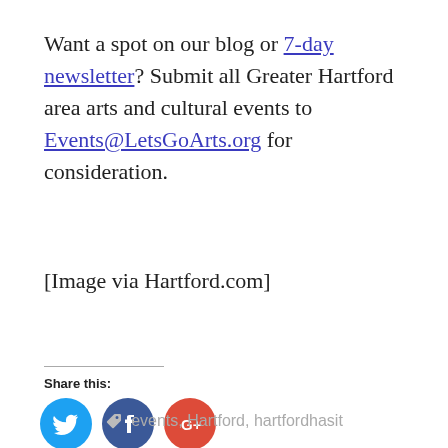Want a spot on our blog or 7-day newsletter? Submit all Greater Hartford area arts and cultural events to Events@LetsGoArts.org for consideration.
[Image via Hartford.com]
Share this:
[Figure (infographic): Three social media share buttons: Twitter (blue circle with bird icon), Facebook (dark blue circle with f icon), Google+ (red circle with G+ icon)]
events, Hartford, hartfordhasit